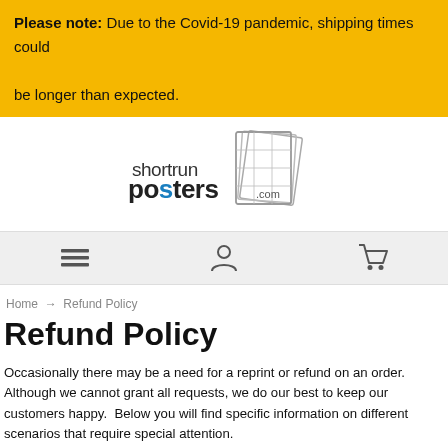Please note: Due to the Covid-19 pandemic, shipping times could be longer than expected.
[Figure (logo): Shortrun Posters .com logo with stacked pages graphic]
[Figure (infographic): Navigation bar with hamburger menu, account, and cart icons]
Home → Refund Policy
Refund Policy
Occasionally there may be a need for a reprint or refund on an order.  Although we cannot grant all requests, we do our best to keep our customers happy.  Below you will find specific information on different scenarios that require special attention.